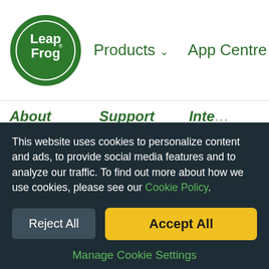[Figure (logo): LeapFrog circular logo in green and white]
Products  App Centre  LeapFrog Academy  Suppo...
About
About LeapFrog
Contact Us
Support
Connect Your Device
FAQs & Product Guides
Where to Buy
International Distributors
Recall Info
Corporate Sustainability
Accessibility
Inte...
Cana...
Cana...
Fran...
Irela...
Spai...
UK
US...
This website uses cookies to personalize content and ads, to provide social media features and to analyze our traffic. To find out more about how we use cookies, please see our Cookie Policy.
Reject All
Accept All
Manage Cookie Settings